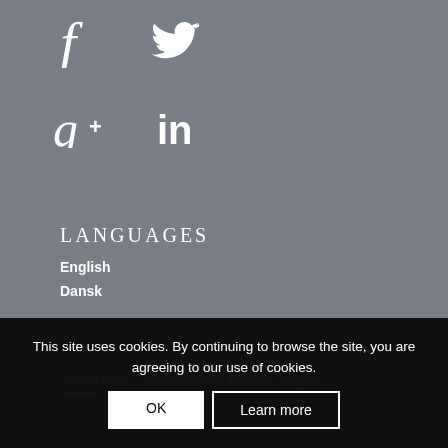[Figure (illustration): Social media icons: Facebook (f), Twitter (bird), Google+ (g+), LinkedIn (in) on gray background]
LANGUAGES
English
Dansk
This site uses cookies. By continuing to browse the site, you are agreeing to our use of cookies.
Copyright © 2021 – Haldor Topsøe A/S or its affiliates – All rights reserved.